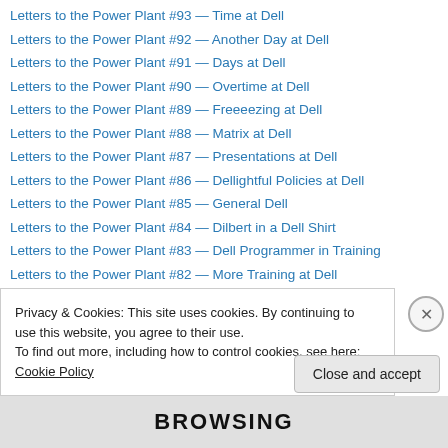Letters to the Power Plant #93 — Time at Dell
Letters to the Power Plant #92 — Another Day at Dell
Letters to the Power Plant #91 — Days at Dell
Letters to the Power Plant #90 — Overtime at Dell
Letters to the Power Plant #89 — Freeeezing at Dell
Letters to the Power Plant #88 — Matrix at Dell
Letters to the Power Plant #87 — Presentations at Dell
Letters to the Power Plant #86 — Dellightful Policies at Dell
Letters to the Power Plant #85 — General Dell
Letters to the Power Plant #84 — Dilbert in a Dell Shirt
Letters to the Power Plant #83 — Dell Programmer in Training
Letters to the Power Plant #82 — More Training at Dell
Letters to the Power Plant #81 — Things are Happenin' at Dell
Letters to the Power Plant #80 — ...
Privacy & Cookies: This site uses cookies. By continuing to use this website, you agree to their use. To find out more, including how to control cookies, see here: Cookie Policy
Close and accept
BROWSING